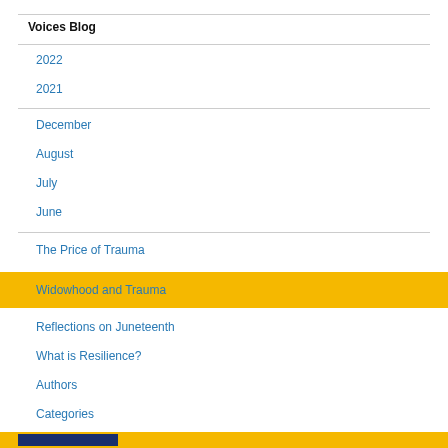Voices Blog
2022
2021
December
August
July
June
The Price of Trauma
Widowhood and Trauma
Reflections on Juneteenth
What is Resilience?
Authors
Categories